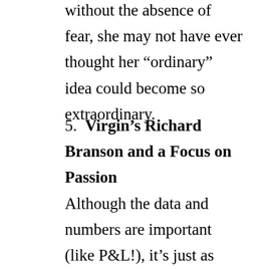without the absence of fear, she may not have ever thought her “ordinary” idea could become so extraordinary.
5.  Virgin’s Richard Branson and a Focus on Passion
Although the data and numbers are important (like P&L!), it’s just as crucial for startup owners to focus on the passion that birthed the startup idea. Business owners who